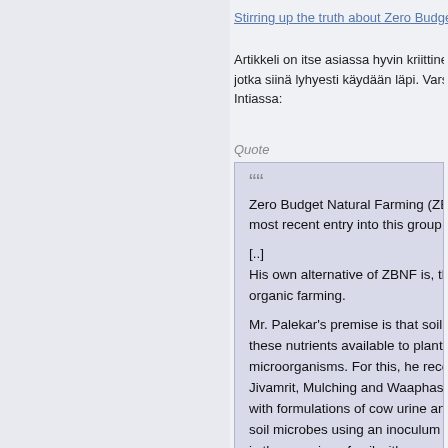Stirring up the truth about Zero Budget Na
Artikkeli on itse asiassa hyvin kriittinen eri
jotka siinä lyhyesti käydään läpi. Varsinai
Intiassa:
Quote
Zero Budget Natural Farming (ZBNF most recent entry into this group.
[..]
His own alternative of ZBNF is, thus, organic farming.

Mr. Palekar's premise is that soil has these nutrients available to plants, w microorganisms. For this, he recomm Jivamrit, Mulching and Waaphasa. B with formulations of cow urine and c soil microbes using an inoculum of c is the covering of soil with crops or c of soil humus to increase soil aeratio methods of insect and pest manage Neeemastra (all different preparations